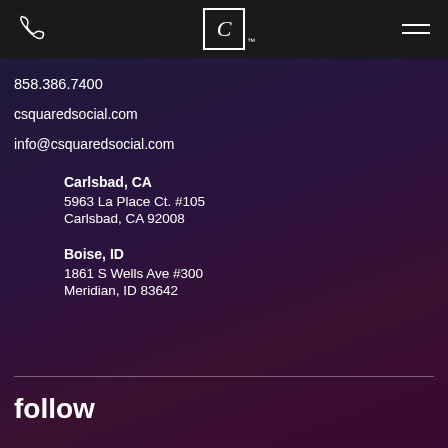C Squared Social – Navigation header with phone icon, logo, and menu icon
858.386.7400
csquaredsocial.com
info@csquaredsocial.com
Carlsbad, CA
5963 La Place Ct. #105
Carlsbad, CA 92008
Boise, ID
1861 S Wells Ave #300
Meridian, ID 83642
follow